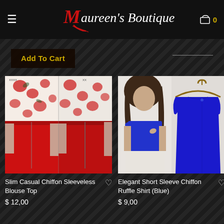Maureen's Boutique
Add To Cart
[Figure (photo): Slim Casual Chiffon Sleeveless Blouse Top - front and back views showing floral chiffon top with red pencil skirt]
Slim Casual Chiffon Sleeveless Blouse Top
$ 12,00
[Figure (photo): Elegant Short Sleeve Chiffon Ruffle Shirt (Blue) - model wearing blue top and product on hanger]
Elegant Short Sleeve Chiffon Ruffle Shirt (Blue)
$ 9,00